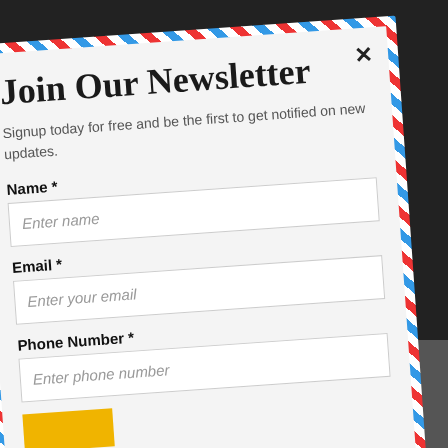[Figure (screenshot): Newsletter signup form modal shown at an angle, styled as an airmail envelope with red and blue diagonal border stripes. Contains title 'Join Our Newsletter', subtitle text, and form fields for Name, Email, and Phone Number with a close button (×) in the top right corner.]
Join Our Newsletter
Signup today for free and be the first to get notified on new updates.
Name *
Enter name
Email *
Enter your email
Phone Number *
Enter phone number